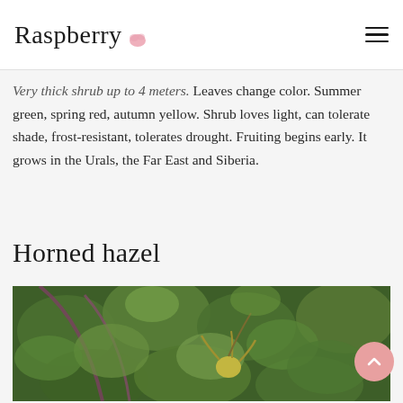Raspberry
Very thick shrub up to 4 meters. Leaves change color. Summer green, spring red, autumn yellow. Shrub loves light, can tolerate shade, frost-resistant, tolerates drought. Fruiting begins early. It grows in the Urals, the Far East and Siberia.
Horned hazel
[Figure (photo): Photo of horned hazel plant showing green leaves and a horned nut/fruit hanging from a branch with reddish-purple stems in the background]